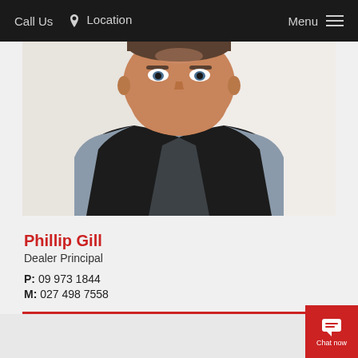Call Us  Location  Menu
[Figure (photo): Headshot of Phillip Gill, a middle-aged man wearing a black vest over a grey shirt, against a white background]
Phillip Gill
Dealer Principal
P: 09 973 1844
M: 027 498 7558
EMAIL US
[Figure (other): Chat now button with speech bubble icon, bottom right corner]